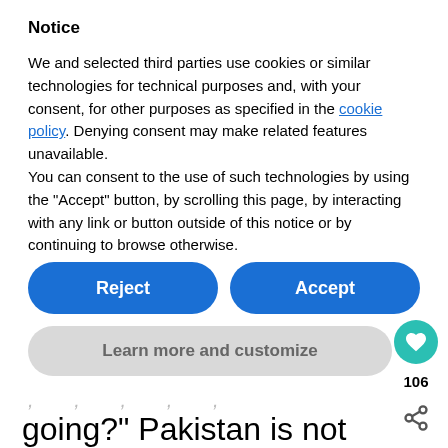Notice
We and selected third parties use cookies or similar technologies for technical purposes and, with your consent, for other purposes as specified in the cookie policy. Denying consent may make related features unavailable.
You can consent to the use of such technologies by using the “Accept” button, by scrolling this page, by interacting with any link or button outside of this notice or by continuing to browse otherwise.
Reject
Accept
Learn more and customize
going?” Pakistan is not what you expect to hear.